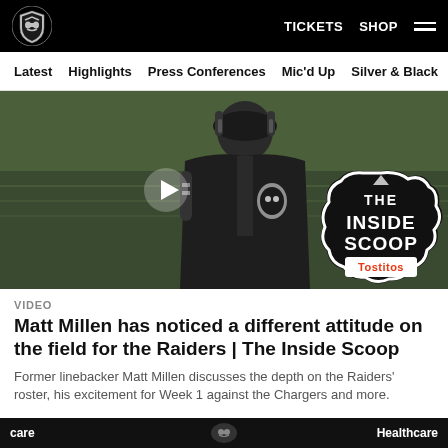[Figure (screenshot): Raiders NFL team website header with black background, Raiders shield logo on left, TICKETS and SHOP links and hamburger menu on right]
Latest   Highlights   Press Conferences   Mic'd Up   Silver & Black
[Figure (screenshot): Video thumbnail showing a man in Raiders coaching staff jacket on a football field, with a play button overlay and The Inside Scoop / Tostitos badge in the bottom right corner]
VIDEO
Matt Millen has noticed a different attitude on the field for the Raiders | The Inside Scoop
Former linebacker Matt Millen discusses the depth on the Raiders' roster, his excitement for Week 1 against the Chargers and more.
care   Healthcare